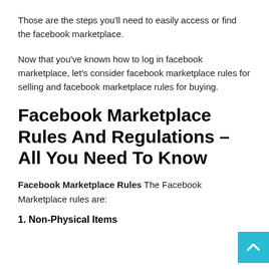Those are the steps you'll need to easily access or find the facebook marketplace.
Now that you've known how to log in facebook marketplace, let's consider facebook marketplace rules for selling and facebook marketplace rules for buying.
Facebook Marketplace Rules And Regulations – All You Need To Know
Facebook Marketplace Rules The Facebook Marketplace rules are:
1. Non-Physical Items